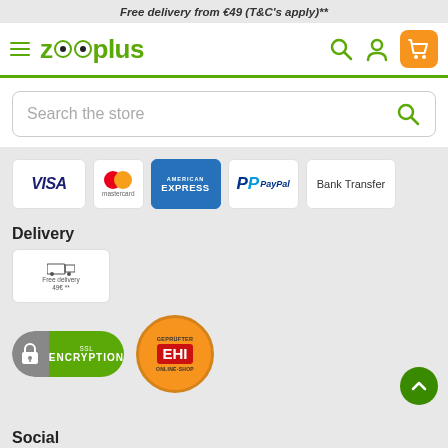Free delivery from €49 (T&C's apply)**
[Figure (logo): Zooplus navigation bar with hamburger menu, zooplus logo, search icon, person icon, and orange shopping cart button]
Search the store
[Figure (infographic): Payment method logos: VISA, Mastercard, American Express, PayPal, Bank Transfer]
Delivery
[Figure (infographic): Delivery badge: Free delivery 49€]
[Figure (infographic): SSL Encryption badge and EHI Geprüfter Online-Shop badge]
Social